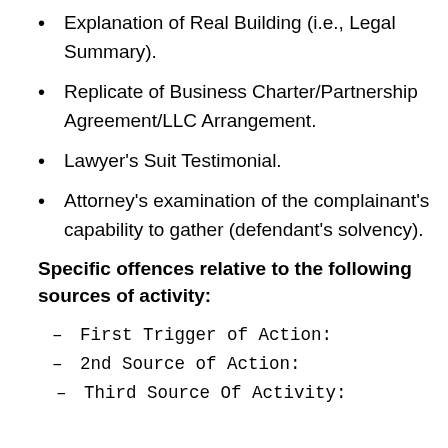Explanation of Real Building (i.e., Legal Summary).
Replicate of Business Charter/Partnership Agreement/LLC Arrangement.
Lawyer's Suit Testimonial.
Attorney's examination of the complainant's capability to gather (defendant's solvency).
Specific offences relative to the following sources of activity:
– First Trigger of Action:
– 2nd Source of Action:
– Third Source Of Activity: